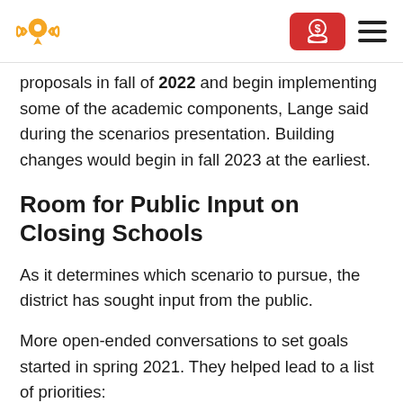Logo and navigation header
proposals in fall of 2022 and begin implementing some of the academic components, Lange said during the scenarios presentation. Building changes would begin in fall 2023 at the earliest.
Room for Public Input on Closing Schools
As it determines which scenario to pursue, the district has sought input from the public.
More open-ended conversations to set goals started in spring 2021. They helped lead to a list of priorities: